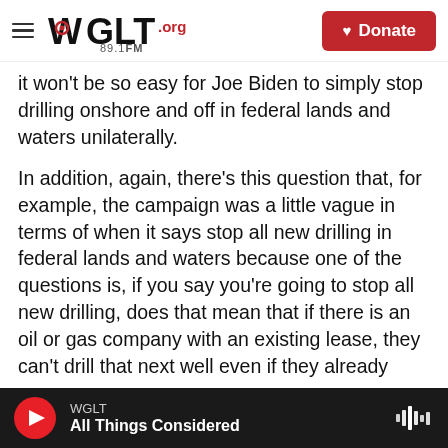WGLT.org 89.1FM | Donate
it won't be so easy for Joe Biden to simply stop drilling onshore and off in federal lands and waters unilaterally.
In addition, again, there's this question that, for example, the campaign was a little vague in terms of when it says stop all new drilling in federal lands and waters because one of the questions is, if you say you're going to stop all new drilling, does that mean that if there is an oil or gas company with an existing lease, they can't drill that next well even if they already have a lease with the federal government? That's something that will be subject
WGLT — All Things Considered